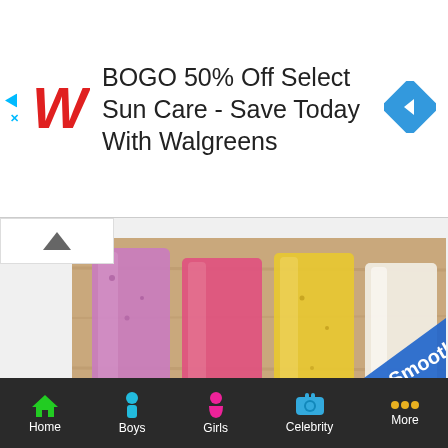[Figure (screenshot): Walgreens advertisement banner: BOGO 50% Off Select Sun Care - Save Today With Walgreens, with Walgreens cursive W logo and blue diamond arrow icon]
[Figure (photo): Four smoothies in glasses on a wooden surface - purple, pink, yellow, and white/cream colored smoothies with a blue diagonal banner overlay reading 'd Smoothies']
Ten Best Foods for Teething Babies
[Figure (screenshot): Partial view of a second article card with dark blue background and decorative pink-outlined white text reading Minnie's Microwave]
Home  Boys  Girls  Celebrity  More